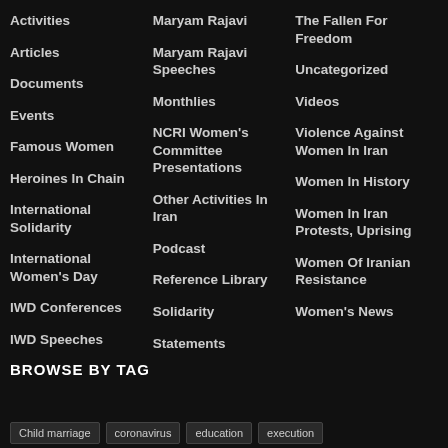Activities
Articles
Documents
Events
Famous Women
Heroines In Chain
International Solidarity
International Women's Day
IWD Conferences
IWD Speeches
Maryam Rajavi
Maryam Rajavi Speeches
Monthlies
NCRI Women's Committee Presentations
Other Activities In Iran
Podcast
Reference Library
Solidarity
Statements
The Fallen For Freedom
Uncategorized
Videos
Violence Against Women In Iran
Women In History
Women In Iran Protests, Uprising
Women Of Iranian Resistance
Women's News
BROWSE BY TAG
Child marriage
coronavirus
education
execution